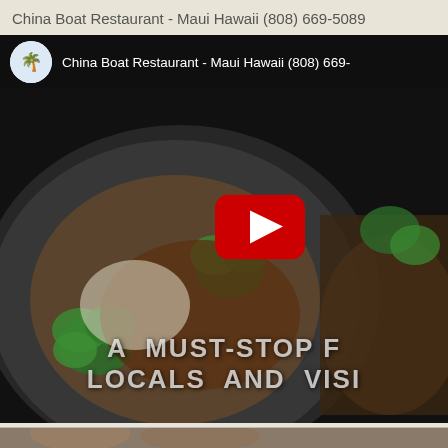China Boat Restaurant - Maui Hawaii (808) 669-5089
[Figure (screenshot): YouTube video thumbnail for China Boat Restaurant - Maui Hawaii (808) 669-5089. Shows a plate of Chinese food (broccoli and meat dish) with a YouTube play button in the center. Text overlay reads 'A MUST-STOP F... LOCALS AND VISI...' at the bottom. Channel logo and video title shown in top bar.]
[Figure (photo): Partial bottom strip of another image, partially visible at the very bottom of the page.]